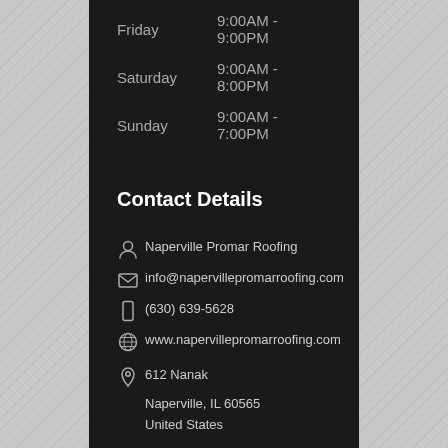Friday   9:00AM - 9:00PM
Saturday   9:00AM - 8:00PM
Sunday   9:00AM - 7:00PM
Contact Details
Naperville Promar Roofing
info@napervillepromarroofing.com
(630) 639-5628
www.napervillepromarroofing.com
612 Nanak
Naperville, IL 60565
United States